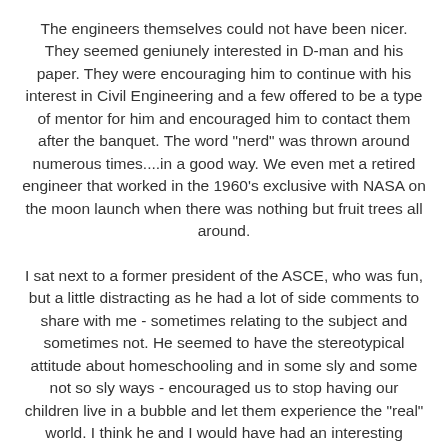The engineers themselves could not have been nicer. They seemed geniunely interested in D-man and his paper. They were encouraging him to continue with his interest in Civil Engineering and a few offered to be a type of mentor for him and encouraged him to contact them after the banquet. The word "nerd" was thrown around numerous times....in a good way. We even met a retired engineer that worked in the 1960's exclusive with NASA on the moon launch when there was nothing but fruit trees all around.
I sat next to a former president of the ASCE, who was fun, but a little distracting as he had a lot of side comments to share with me - sometimes relating to the subject and sometimes not. He seemed to have the stereotypical attitude about homeschooling and in some sly and some not so sly ways - encouraged us to stop having our children live in a bubble and let them experience the "real" world. I think he and I would have had an interesting conversation, if there hadn't been a program to pay attention to.
I could have told him all the "real" places in the world,